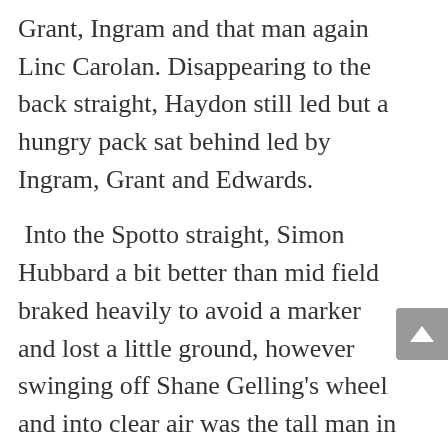Grant, Ingram and that man again Linc Carolan. Disappearing to the back straight, Haydon still led but a hungry pack sat behind led by Ingram, Grant and Edwards.
Into the Spotto straight, Simon Hubbard a bit better than mid field braked heavily to avoid a marker and lost a little ground, however swinging off Shane Gelling's wheel and into clear air was the tall man in black, James Bartlett and sprinting brilliantly, James grabbed Ingram and Edwards and looked all over a winner until a balanced up Hubbard was literally mowing the leaders down, Simon moved up on the outside of James and pair hit the line locked together